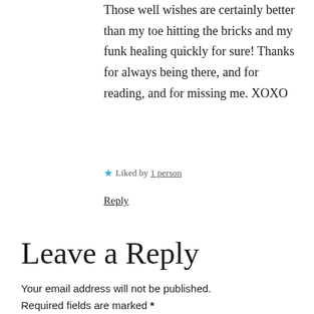Those well wishes are certainly better than my toe hitting the bricks and my funk healing quickly for sure! Thanks for always being there, and for reading, and for missing me. XOXO
★ Liked by 1 person
Reply
Leave a Reply
Your email address will not be published. Required fields are marked *